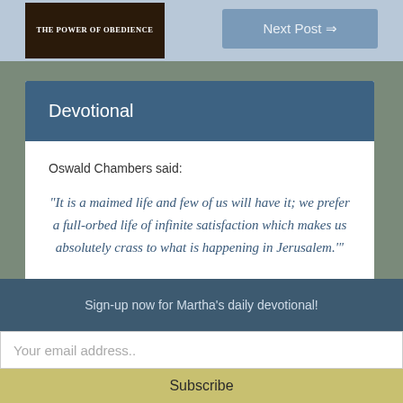[Figure (illustration): Book cover with text 'THE POWER OF OBEDIENCE' on dark background]
Next Post ⇒
Devotional
Oswald Chambers said:
“It is a maimed life and few of us will have it; we prefer a full-orbed life of infinite satisfaction which makes us absolutely crass to what is happening in Jerusalem.”
Sign-up now for Martha's daily devotional!
Your email address..
Subscribe